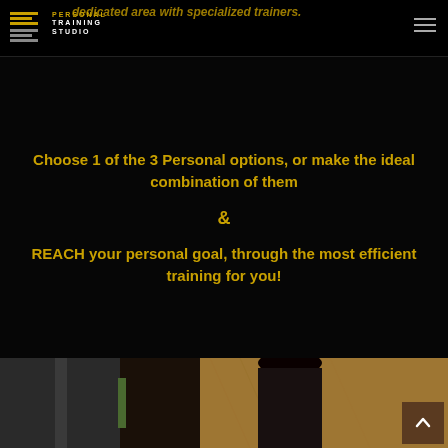Personal Training Studio — dedicated area with specialized trainers.
Choose 1 of the 3 Personal options, or make the ideal combination of them
&
REACH your personal goal, through the most efficient training for you!
[Figure (photo): Bottom portion of page showing a photo of a person with dark hair in a gym/studio environment with wood-textured wall background.]